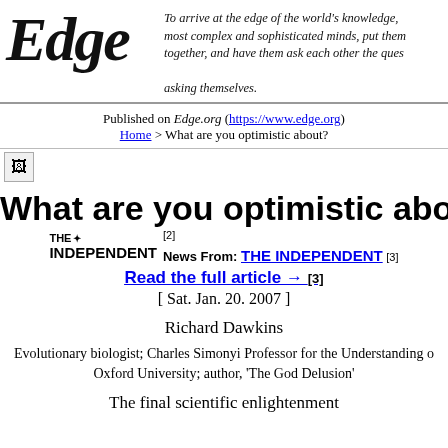[Figure (logo): Edge logo in large italic serif font]
To arrive at the edge of the world's knowledge, most complex and sophisticated minds, put them together, and have them ask each other the questions they are asking themselves.
Published on Edge.org (https://www.edge.org)
Home > What are you optimistic about?
[Figure (illustration): Small image icon placeholder]
What are you optimistic about?
[Figure (logo): The Independent newspaper logo]
News From: THE INDEPENDENT [3]
Read the full article → [3]
[ Sat. Jan. 20. 2007 ]
Richard Dawkins
Evolutionary biologist; Charles Simonyi Professor for the Understanding of Science, Oxford University; author, 'The God Delusion'
The final scientific enlightenment